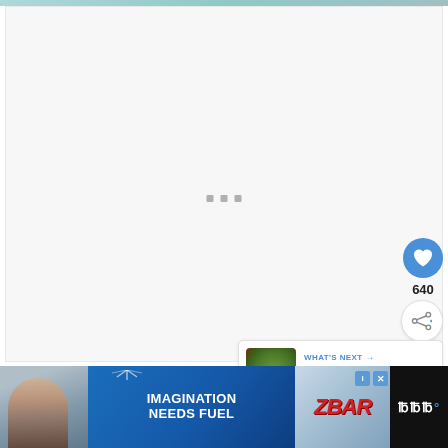[Figure (photo): Top strip showing partial food/lifestyle images in teal/green tones]
[Figure (screenshot): Large white/light gray content area with loading indicator dots in center, heart/like button (blue circle, 640 count), share button, and What's Next card showing Broccoli Pea Salad]
640
WHAT'S NEXT → Broccoli Pea Salad
[Figure (photo): Advertisement banner: child eating snack on dark background, blue diagonal background with IMAGINATION NEEDS FUEL text, ZBAR product image, close/info buttons, and Whisk wordmark]